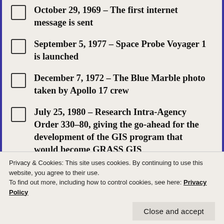October 29, 1969 – The first internet message is sent
September 5, 1977 – Space Probe Voyager 1 is launched
December 7, 1972 – The Blue Marble photo taken by Apollo 17 crew
July 25, 1980 – Research Intra-Agency Order 330-80, giving the go-ahead for the development of the GIS program that would become GRASS GIS
November 17, 1922 – [partial, obscured by cookie banner]
Privacy & Cookies: This site uses cookies. By continuing to use this website, you agree to their use.
To find out more, including how to control cookies, see here: Privacy Policy
[Close and accept]